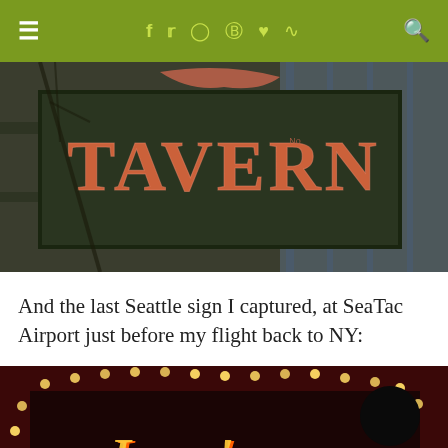Navigation bar with menu, social icons (facebook, twitter, instagram, pinterest, heart, rss), and search
[Figure (photo): Close-up photo of a 'TAVERN' neon/painted sign with orange lettering on a dark background, with building structure visible behind it]
And the last Seattle sign I captured, at SeaTac Airport just before my flight back to NY:
[Figure (photo): Photo of Ivar's neon sign with glowing golden/orange cursive lettering on a dark red marquee border with small lights]